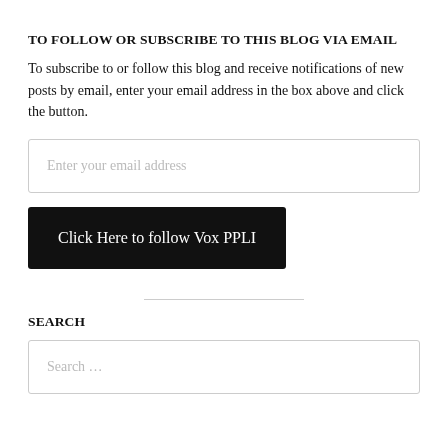TO FOLLOW OR SUBSCRIBE TO THIS BLOG VIA EMAIL
To subscribe to or follow this blog and receive notifications of new posts by email, enter your email address in the box above and click the button.
Enter your email address
Click Here to follow Vox PPLI
SEARCH
Search …